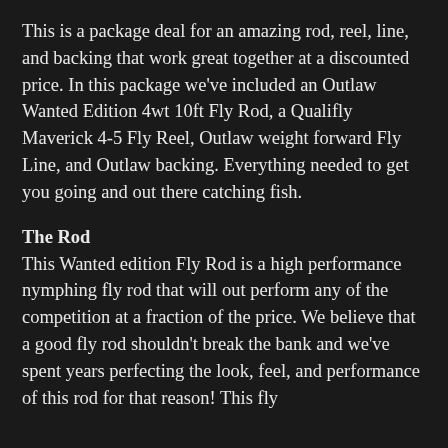This is a package deal for an amazing rod, reel, line, and backing that work great together at a discounted price.  In this package we've included an Outlaw Wanted Edition 4wt 10ft Fly Rod, a Qualifly Maverick 4-5 Fly Reel, Outlaw weight forward Fly Line, and Outlaw backing.  Everything needed to get you going and out there catching fish.
The Rod
This Wanted edition Fly Rod is a high performance nymphing fly rod that will out perform any of the competition at a fraction of the price.  We believe that a good fly rod shouldn't break the bank and we've spent years perfecting the look, feel, and performance of this rod for that reason!  This fly